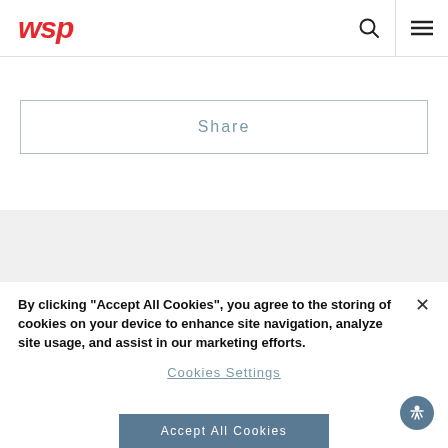wsp
Share
By clicking “Accept All Cookies”, you agree to the storing of cookies on your device to enhance site navigation, analyze site usage, and assist in our marketing efforts.
Cookies Settings
Accept All Cookies